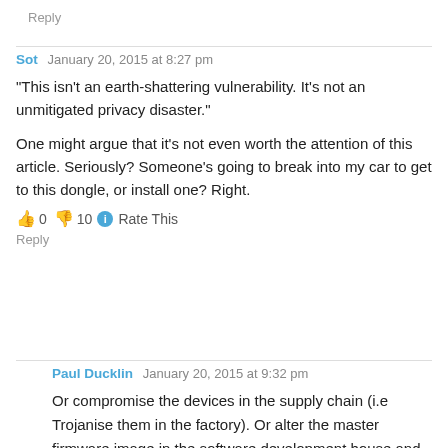Reply
Sot  January 20, 2015 at 8:27 pm
“This isn’t an earth-shattering vulnerability. It’s not an unmitigated privacy disaster.”
One might argue that it's not even worth the attention of this article. Seriously? Someone's going to break into my car to get to this dongle, or install one? Right.
👍 0 👎 10  Rate This
Reply
Paul Ducklin  January 20, 2015 at 9:32 pm
Or compromise the devices in the supply chain (i.e Trojanise them in the factory). Or alter the master firmware image in the software development house and